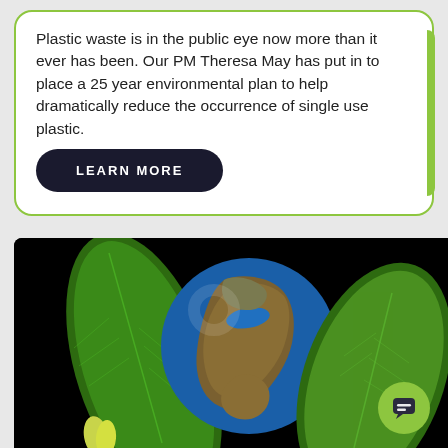Plastic waste is in the public eye now more than it ever has been. Our PM Theresa May has put in to place a 25 year environmental plan to help dramatically reduce the occurrence of single use plastic.
LEARN MORE
[Figure (photo): A dark background image showing planet Earth held by large green tropical leaves, depicting environmental/ecological themes.]